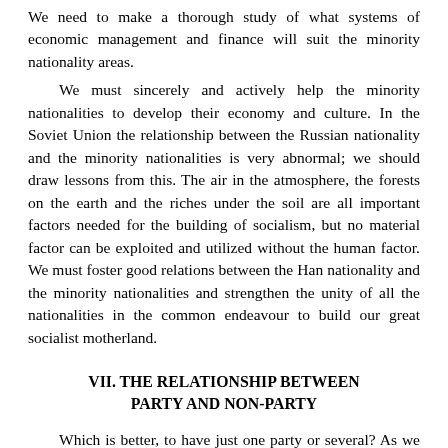We need to make a thorough study of what systems of economic management and finance will suit the minority nationality areas.
We must sincerely and actively help the minority nationalities to develop their economy and culture. In the Soviet Union the relationship between the Russian nationality and the minority nationalities is very abnormal; we should draw lessons from this. The air in the atmosphere, the forests on the earth and the riches under the soil are all important factors needed for the building of socialism, but no material factor can be exploited and utilized without the human factor. We must foster good relations between the Han nationality and the minority nationalities and strengthen the unity of all the nationalities in the common endeavour to build our great socialist motherland.
VII. THE RELATIONSHIP BETWEEN PARTY AND NON-PARTY
Which is better, to have just one party or several? As we see it now, it's perhaps better to have several parties. This has been true in the past and may well be so for the future; it means long-term coexistence and mutual supervision.